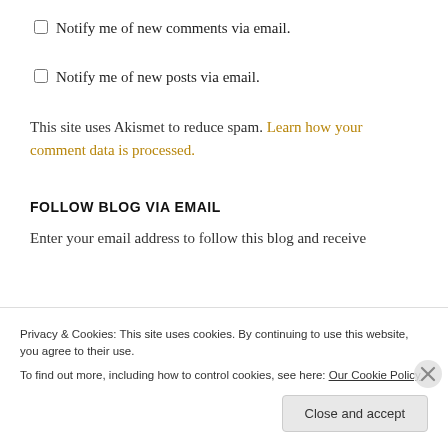Notify me of new comments via email.
Notify me of new posts via email.
This site uses Akismet to reduce spam. Learn how your comment data is processed.
FOLLOW BLOG VIA EMAIL
Enter your email address to follow this blog and receive
Privacy & Cookies: This site uses cookies. By continuing to use this website, you agree to their use.
To find out more, including how to control cookies, see here: Our Cookie Policy
Close and accept